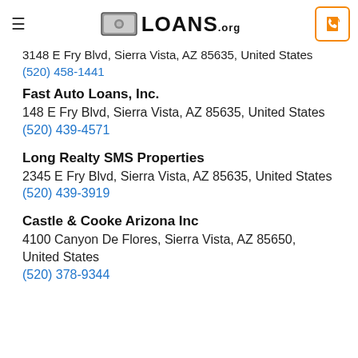LOANS.org
3148 E Fry Blvd, Sierra Vista, AZ 85635, United States
(520) 458-1441
Fast Auto Loans, Inc.
148 E Fry Blvd, Sierra Vista, AZ 85635, United States
(520) 439-4571
Long Realty SMS Properties
2345 E Fry Blvd, Sierra Vista, AZ 85635, United States
(520) 439-3919
Castle & Cooke Arizona Inc
4100 Canyon De Flores, Sierra Vista, AZ 85650, United States
(520) 378-9344